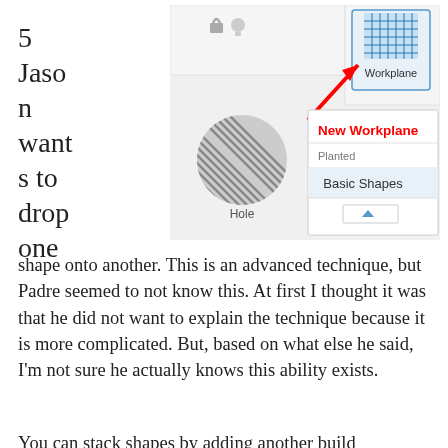5 Jason wants to drop one shape onto another.
[Figure (screenshot): Screenshot of a 3D modeling software interface showing a Workplane button highlighted with a red arrow, a grey hatched circle labeled 'Hole', and a dropdown menu showing 'New Workplane', 'Planted', and 'Basic Shapes' options.]
shape onto another. This is an advanced technique, but Padre seemed to not know this. At first I thought it was that he did not want to explain the technique because it is more complicated. But, based on what else he said, I'm not sure he actually knows this ability exists.
You can stack shapes by adding another build